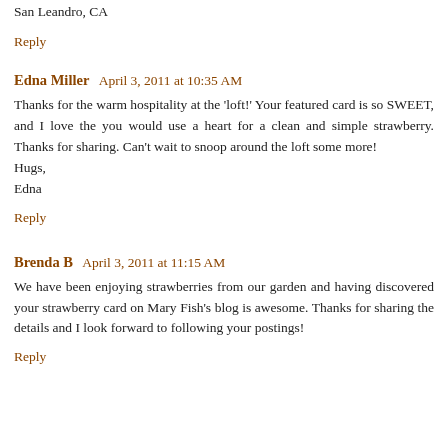San Leandro, CA
Reply
Edna Miller   April 3, 2011 at 10:35 AM
Thanks for the warm hospitality at the 'loft!' Your featured card is so SWEET, and I love the you would use a heart for a clean and simple strawberry. Thanks for sharing. Can't wait to snoop around the loft some more!
Hugs,
Edna
Reply
Brenda B   April 3, 2011 at 11:15 AM
We have been enjoying strawberries from our garden and having discovered your strawberry card on Mary Fish's blog is awesome. Thanks for sharing the details and I look forward to following your postings!
Reply